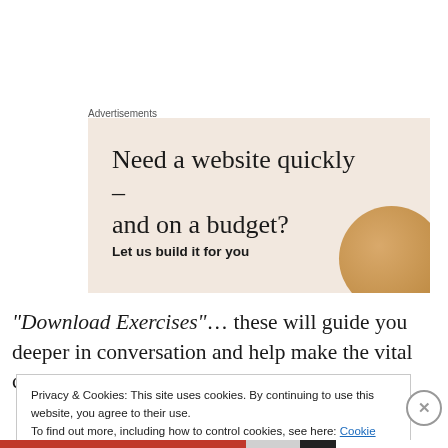Advertisements
[Figure (illustration): Advertisement box with beige/cream background. Large serif headline: 'Need a website quickly – and on a budget?' with subtext 'Let us build it for you' and a decorative circular image in the bottom-right corner.]
“Download Exercises”… these will guide you deeper in conversation and help make the vital connection between
Privacy & Cookies: This site uses cookies. By continuing to use this website, you agree to their use.
To find out more, including how to control cookies, see here: Cookie Policy
Close and accept